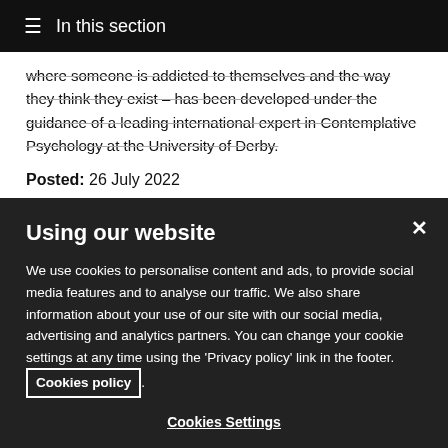☰ In this section
where someone is addicted to themselves and the way they think they exist – has been developed under the guidance of a leading international expert in Contemplative Psychology at the University of Derby.
Posted: 26 July 2022
Nursing trailblazers appointed Visiting
Using our website
We use cookies to personalise content and ads, to provide social media features and to analyse our traffic. We also share information about your use of our site with our social media, advertising and analytics partners. You can change your cookie settings at any time using the 'Privacy policy' link in the footer. Cookies policy.
Cookies Settings